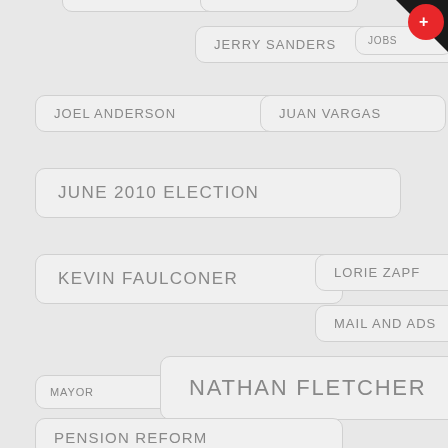JERRY SANDERS
JOBS
JOEL ANDERSON
JUAN VARGAS
JUNE 2010 ELECTION
KEVIN FAULCONER
LORIE ZAPF
MAIL AND ADS
MAYOR
NATHAN FLETCHER
PENSION REFORM
REPUBLICAN PARTY OF SAN DIEGO COUNTY